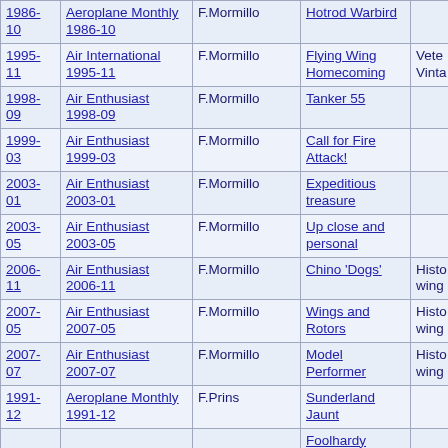| Date | Publication | Author | Title | Notes |
| --- | --- | --- | --- | --- |
| 1986-10 | Aeroplane Monthly 1986-10 | F.Mormillo | Hotrod Warbird |  |
| 1995-11 | Air International 1995-11 | F.Mormillo | Flying Wing Homecoming | Vete... Vinta... |
| 1998-09 | Air Enthusiast 1998-09 | F.Mormillo | Tanker 55 |  |
| 1999-03 | Air Enthusiast 1999-03 | F.Mormillo | Call for Fire Attack! |  |
| 2003-01 | Air Enthusiast 2003-01 | F.Mormillo | Expeditious treasure |  |
| 2003-05 | Air Enthusiast 2003-05 | F.Mormillo | Up close and personal |  |
| 2006-11 | Air Enthusiast 2006-11 | F.Mormillo | Chino 'Dogs' | Histo... wing... |
| 2007-05 | Air Enthusiast 2007-05 | F.Mormillo | Wings and Rotors | Histo... wing... |
| 2007-07 | Air Enthusiast 2007-07 | F.Mormillo | Model Performer | Histo... wing... |
| 1991-12 | Aeroplane Monthly 1991-12 | F.Prins | Sunderland Jaunt |  |
|  |  |  | Foolhardy... |  |